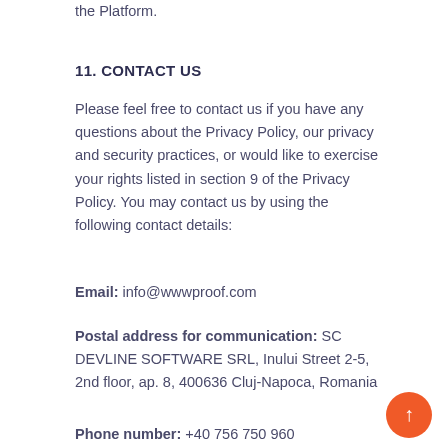the Platform.
11. CONTACT US
Please feel free to contact us if you have any questions about the Privacy Policy, our privacy and security practices, or would like to exercise your rights listed in section 9 of the Privacy Policy. You may contact us by using the following contact details:
Email: info@wwwproof.com
Postal address for communication: SC DEVLINE SOFTWARE SRL, Inului Street 2-5, 2nd floor, ap. 8, 400636 Cluj-Napoca, Romania
Phone number: +40 756 750 960